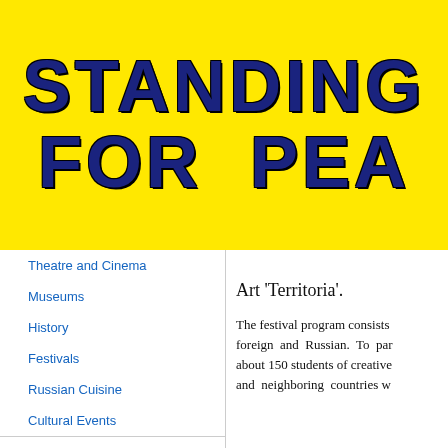[Figure (illustration): Yellow banner header with bold dark blue cracked/lightning-effect text reading STANDING FOR PEA (truncated on right). Background is bright yellow.]
Theatre and Cinema
Museums
History
Festivals
Russian Cuisine
Cultural Events
Education & Science
Russian people
Regions & Cities
Russia International
Society & Politics
Art 'Territoria'.
The festival program consists of foreign and Russian. To par about 150 students of creative and neighboring countries w